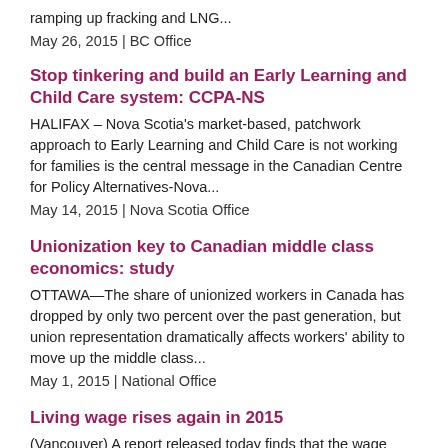ramping up fracking and LNG...
May 26, 2015 | BC Office
Stop tinkering and build an Early Learning and Child Care system: CCPA-NS
HALIFAX – Nova Scotia's market-based, patchwork approach to Early Learning and Child Care is not working for families is the central message in the Canadian Centre for Policy Alternatives-Nova...
May 14, 2015 | Nova Scotia Office
Unionization key to Canadian middle class economics: study
OTTAWA—The share of unionized workers in Canada has dropped by only two percent over the past generation, but union representation dramatically affects workers' ability to move up the middle class...
May 1, 2015 | National Office
Living wage rises again in 2015
(Vancouver) A report released today finds that the wage needed to cover the costs of raising a family in Metro